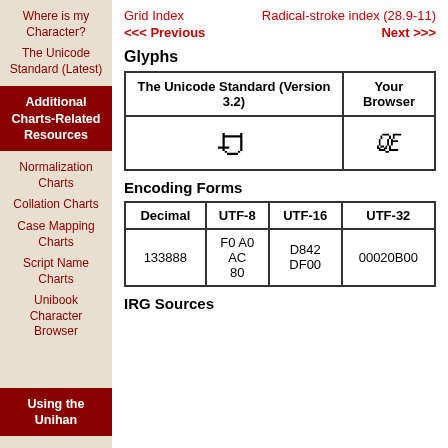Where is my Character?
The Unicode Standard (Latest)
Additional Charts-Related Resources
Normalization Charts
Collation Charts
Case Mapping Charts
Script Name Charts
Unibook Character Browser
Using the Unihan
Grid Index    Radical-stroke index (28.9-11)
<<< Previous    Next >>>
Glyphs
| The Unicode Standard (Version 3.2) | Your Browser |
| --- | --- |
| 鱀 | □ |
Encoding Forms
| Decimal | UTF-8 | UTF-16 | UTF-32 |
| --- | --- | --- | --- |
| 133888 | F0 A0 AC 80 | D842 DF00 | 00020B00 |
IRG Sources